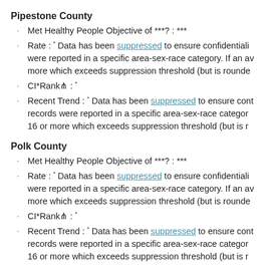Pipestone County
Met Healthy People Objective of ***? : ***
Rate : * Data has been suppressed to ensure confidentiality were reported in a specific area-sex-race category. If an av more which exceeds suppression threshold (but is rounde
CI*Rank⋔ : *
Recent Trend : * Data has been suppressed to ensure cont records were reported in a specific area-sex-race category 16 or more which exceeds suppression threshold (but is r
Polk County
Met Healthy People Objective of ***? : ***
Rate : * Data has been suppressed to ensure confidentiality were reported in a specific area-sex-race category. If an av more which exceeds suppression threshold (but is rounde
CI*Rank⋔ : *
Recent Trend : * Data has been suppressed to ensure cont records were reported in a specific area-sex-race category 16 or more which exceeds suppression threshold (but is r
Pope County
Met Healthy People Objective of ***? : ***